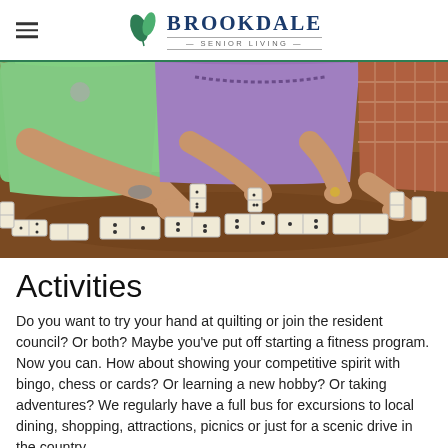Brookdale Senior Living (logo with hamburger menu)
[Figure (photo): Elderly people playing dominoes around a wooden table. Three individuals visible from the torso down, wearing green, purple, and plaid clothing, with domino pieces arranged on the table.]
Activities
Do you want to try your hand at quilting or join the resident council? Or both? Maybe you've put off starting a fitness program. Now you can. How about showing your competitive spirit with bingo, chess or cards? Or learning a new hobby? Or taking adventures? We regularly have a full bus for excursions to local dining, shopping, attractions, picnics or just for a scenic drive in the country.